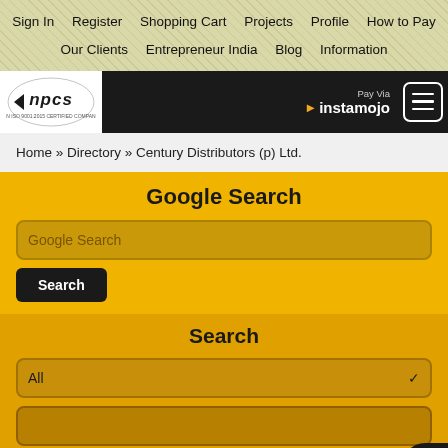Sign In   Register   Shopping Cart   Projects   Profile   How to Pay   Our Clients   Entrepreneur India   Blog   Information
[Figure (logo): NPCS logo - white oval with 'npcs' text in dark, ISO certified company]
Pay Via instamojo
Home » Directory » Century Distributors (p) Ltd.
Google Search
Google Search (input field)
Search (button)
Search
All (dropdown)
Search » (button)   Advance Search